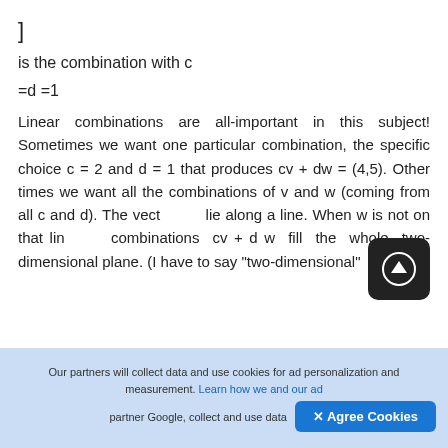]
is the combination with c
Linear combinations are all-important in this subject! Sometimes we want one particular combination, the specific choice c = 2 and d = 1 that produces cv + dw = (4,5). Other times we want all the combinations of v and w (coming from all c and d). The vectors cv lie along a line. When w is not on that line, combinations cv + d w fill the whole two-dimensional plane. (I have to say "two-dimensional"
Our partners will collect data and use cookies for ad personalization and measurement. Learn how we and our ad partner Google, collect and use data
✕ Agree Cookies